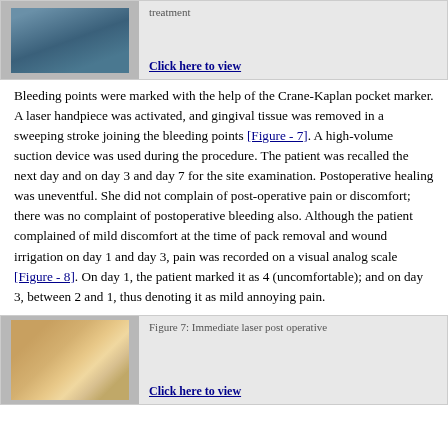[Figure (photo): Medical procedure photo showing dental/oral treatment being performed]
treatment

Click here to view
Bleeding points were marked with the help of the Crane-Kaplan pocket marker. A laser handpiece was activated, and gingival tissue was removed in a sweeping stroke joining the bleeding points [Figure - 7]. A high-volume suction device was used during the procedure. The patient was recalled the next day and on day 3 and day 7 for the site examination. Postoperative healing was uneventful. She did not complain of post-operative pain or discomfort; there was no complaint of postoperative bleeding also. Although the patient complained of mild discomfort at the time of pack removal and wound irrigation on day 1 and day 3, pain was recorded on a visual analog scale [Figure - 8]. On day 1, the patient marked it as 4 (uncomfortable); and on day 3, between 2 and 1, thus denoting it as mild annoying pain.
[Figure (photo): Dental photo showing teeth and gums immediately after laser post operative treatment]
Figure 7: Immediate laser post operative

Click here to view